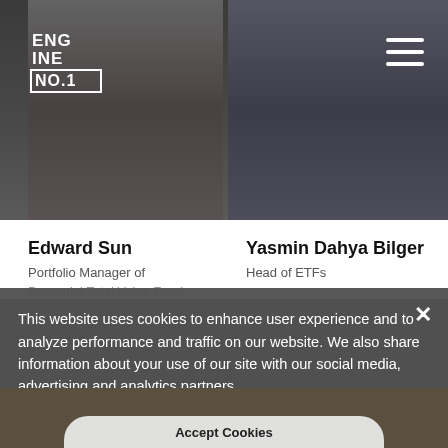[Figure (photo): Portrait photo of Edward Sun, partially visible, dark background]
[Figure (photo): Portrait photo of Yasmin Dahya Bilger, partially visible, dark background]
[Figure (logo): Engine No. 1 logo in white text on dark background, top left]
Edward Sun
Portfolio Manager of
Perennial Total Value Fund
Yasmin Dahya Bilger
Head of ETFs
This website uses cookies to enhance user experience and to analyze performance and traffic on our website. We also share information about your use of our site with our social media, advertising and analytics partners.
Do Not Sell My Personal Information
Accept Cookies